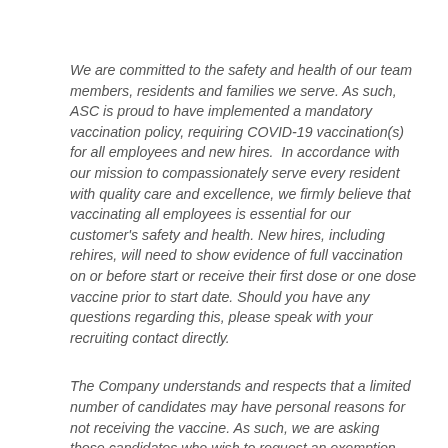We are committed to the safety and health of our team members, residents and families we serve. As such, ASC is proud to have implemented a mandatory vaccination policy, requiring COVID-19 vaccination(s) for all employees and new hires.  In accordance with our mission to compassionately serve every resident with quality care and excellence, we firmly believe that vaccinating all employees is essential for our customer's safety and health. New hires, including rehires, will need to show evidence of full vaccination on or before start or receive their first dose or one dose vaccine prior to start date. Should you have any questions regarding this, please speak with your recruiting contact directly.
The Company understands and respects that a limited number of candidates may have personal reasons for not receiving the vaccine. As such, we are asking those candidates who wish to request an exemption from being vaccinated to be vaccinated to submit a request for their...